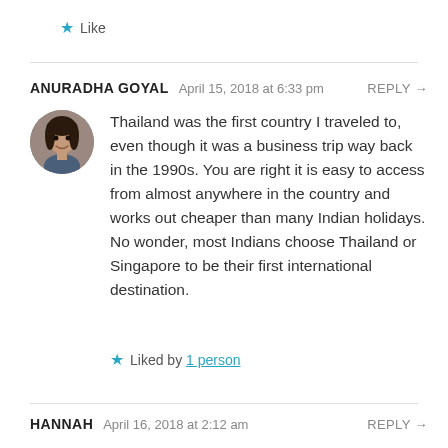★ Like
ANURADHA GOYAL   April 15, 2018 at 6:33 pm   REPLY →
[Figure (photo): Circular avatar photo of Anuradha Goyal, a woman with dark hair]
Thailand was the first country I traveled to, even though it was a business trip way back in the 1990s. You are right it is easy to access from almost anywhere in the country and works out cheaper than many Indian holidays. No wonder, most Indians choose Thailand or Singapore to be their first international destination.
★ Liked by 1 person
HANNAH   April 16, 2018 at 2:12 am   REPLY →